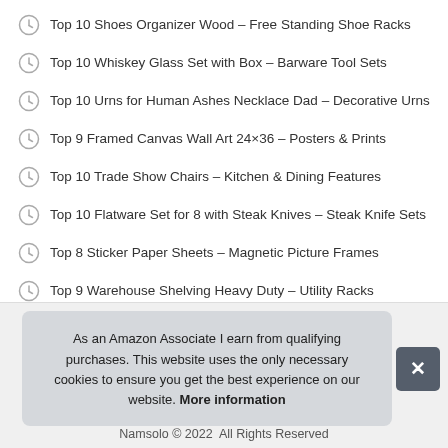Top 10 Shoes Organizer Wood – Free Standing Shoe Racks
Top 10 Whiskey Glass Set with Box – Barware Tool Sets
Top 10 Urns for Human Ashes Necklace Dad – Decorative Urns
Top 9 Framed Canvas Wall Art 24×36 – Posters & Prints
Top 10 Trade Show Chairs – Kitchen & Dining Features
Top 10 Flatware Set for 8 with Steak Knives – Steak Knife Sets
Top 8 Sticker Paper Sheets – Magnetic Picture Frames
Top 9 Warehouse Shelving Heavy Duty – Utility Racks
As an Amazon Associate I earn from qualifying purchases. This website uses the only necessary cookies to ensure you get the best experience on our website. More information
Namsolo © 2022  All Rights Reserved